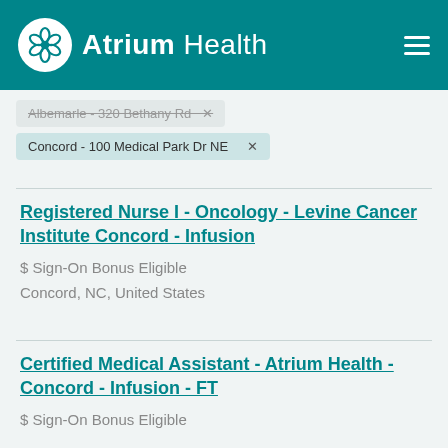Atrium Health
Albemarle - 320 Bethany Rd × (strikethrough filter)
Concord - 100 Medical Park Dr NE ×
Registered Nurse I - Oncology - Levine Cancer Institute Concord - Infusion
$ Sign-On Bonus Eligible
Concord, NC, United States
Certified Medical Assistant - Atrium Health - Concord - Infusion - FT
$ Sign-On Bonus Eligible